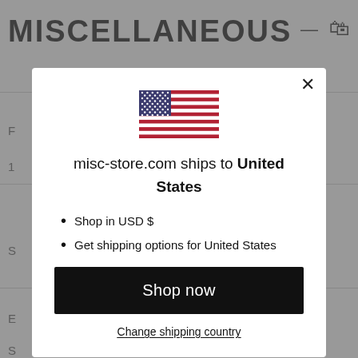MISCELLANEOUS
[Figure (illustration): US flag emoji/illustration centered at top of modal]
misc-store.com ships to United States
Shop in USD $
Get shipping options for United States
Shop now
Change shipping country